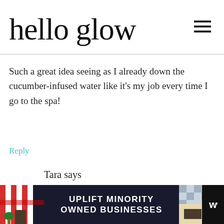hello glow
Such a great idea seeing as I already down the cucumber-infused water like it's my job every time I go to the spa!
Reply
Tara says
June 13, 2014 at 4:16 am
[Figure (other): Advertisement banner: UPLIFT MINORITY OWNED BUSINESSES with storefront illustration]